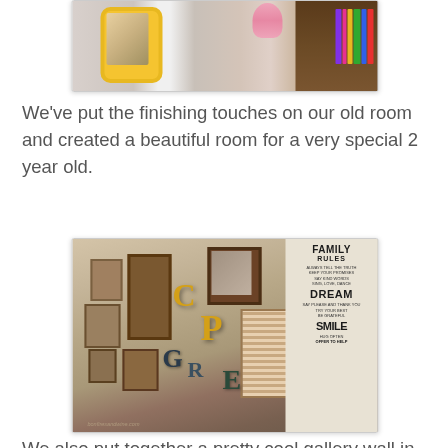[Figure (photo): Top portion of a children's room photo showing a yellow decorative frame with photos, a pink ribbon/bow, and a bookshelf with colorful books on the right]
We've put the finishing touches on our old room and created a beautiful room for a very special 2 year old.
[Figure (photo): Gallery wall photo showing framed pictures, decorative wooden letters (C, P, G, R, E), and a Family Rules sign poster with text including FAMILY RULES, DREAM, SMILE, HUG OFTEN, OFFER TO HELP, BE GRATEFUL. Watermark reads bonfiresandwine.com]
We also put together a pretty cool gallery wall in our